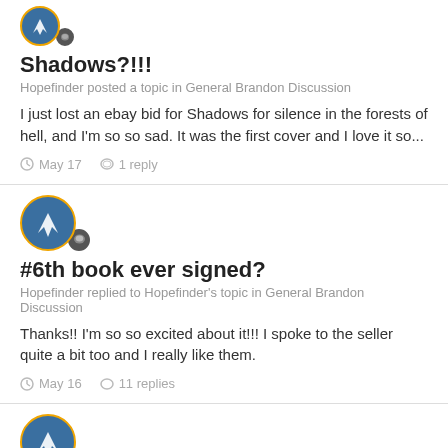Shadows?!!!
Hopefinder posted a topic in General Brandon Discussion
I just lost an ebay bid for Shadows for silence in the forests of hell, and I'm so so sad. It was the first cover and I love it so...
May 17   1 reply
#6th book ever signed?
Hopefinder replied to Hopefinder's topic in General Brandon Discussion
Thanks!! I'm so so excited about it!!! I spoke to the seller quite a bit too and I really like them.
May 16   11 replies